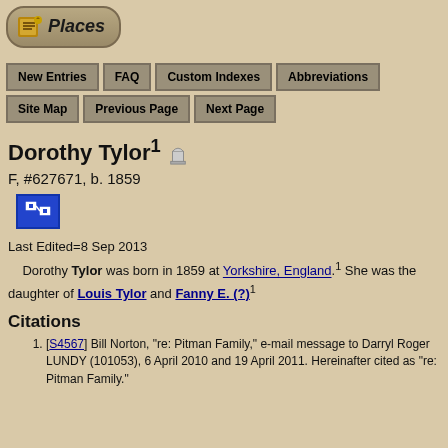[Figure (logo): Places logo button with scroll/book icon]
New Entries | FAQ | Custom Indexes | Abbreviations | Site Map | Previous Page | Next Page
Dorothy Tylor[1] [tombstone icon]
F, #627671, b. 1859
[Figure (other): Blue family tree icon button]
Last Edited=8 Sep 2013
Dorothy Tylor was born in 1859 at Yorkshire, England.1 She was the daughter of Louis Tylor and Fanny E. (?).1
Citations
[S4567] Bill Norton, "re: Pitman Family," e-mail message to Darryl Roger LUNDY (101053), 6 April 2010 and 19 April 2011. Hereinafter cited as "re: Pitman Family."